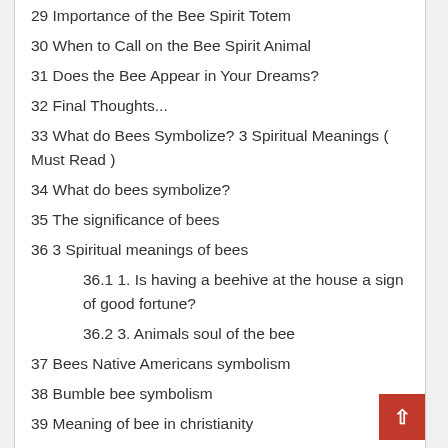29 Importance of the Bee Spirit Totem
30 When to Call on the Bee Spirit Animal
31 Does the Bee Appear in Your Dreams?
32 Final Thoughts...
33 What do Bees Symbolize? 3 Spiritual Meanings ( Must Read )
34 What do bees symbolize?
35 The significance of bees
36 3 Spiritual meanings of bees
36.1 1. Is having a beehive at the house a sign of good fortune?
36.2 3. Animals soul of the bee
37 Bees Native Americans symbolism
38 Bumble bee symbolism
39 Meaning of bee in christianity
40 Bee Totem Animal